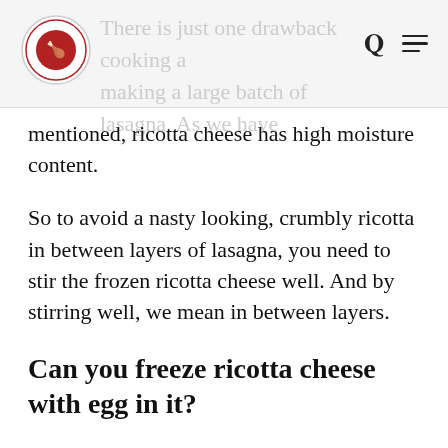There is just one drawback to cooking a large batch of lasagna. As we have mentioned, ricotta cheese has high moisture content.
mentioned, ricotta cheese has high moisture content.
So to avoid a nasty looking, crumbly ricotta in between layers of lasagna, you need to stir the frozen ricotta cheese well. And by stirring well, we mean in between layers.
Can you freeze ricotta cheese with egg in it?
As weird as it may sound, the answer is yes. As a matter of fact, the egg can act as a binding agent for the ricotta cheese. As such, you would find that it is